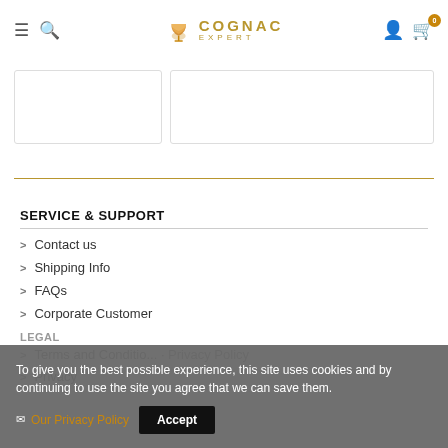Cognac Expert — navigation header with hamburger, search, logo, user, and cart icons
SERVICE & SUPPORT
Contact us
Shipping Info
FAQs
Corporate Customer
LEGAL
Terms and Conditions · Privacy Policy
Privacy
To give you the best possible experience, this site uses cookies and by continuing to use the site you agree that we can save them. Our Privacy Policy